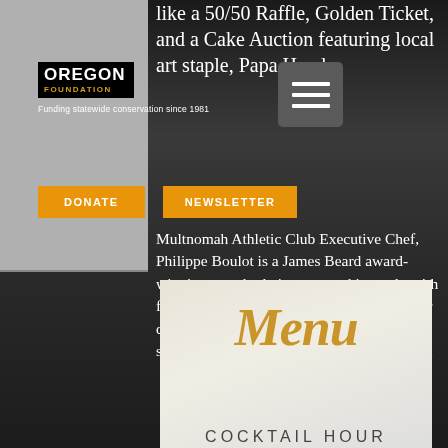OREGON FOUNDATION — Funding statewide conservation since 1981
like a 50/50 Raffle, Golden Ticket, and a Cake Auction featuring local art staple, Papa Haydn.
Multnomah Athletic Club Executive Chef, Philippe Boulot is a James Beard award-winning taste bud pioneer, working only with fresh in-season ingredients. His dishes never disappoint, and we are thrilled to be able to serve his mouth watering meals at our event.
[Figure (other): Menu card with script 'Menu' text in gold and 'COCKTAIL HOUR' in spaced grey letters below, on a light cream/parchment background with glassware visible behind.]